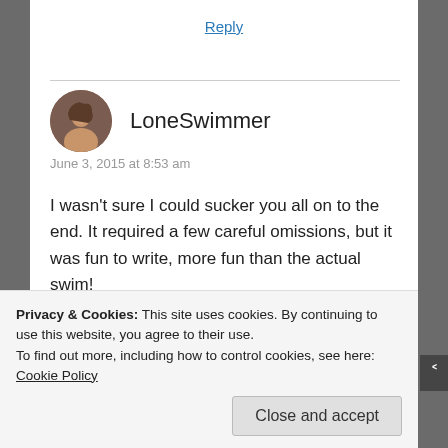Reply
LoneSwimmer
June 3, 2015 at 8:53 am
I wasn’t sure I could sucker you all on to the end. It required a few careful omissions, but it was fun to write, more fun than the actual swim!
★ Like
Reply
Privacy & Cookies: This site uses cookies. By continuing to use this website, you agree to their use.
To find out more, including how to control cookies, see here: Cookie Policy
Close and accept